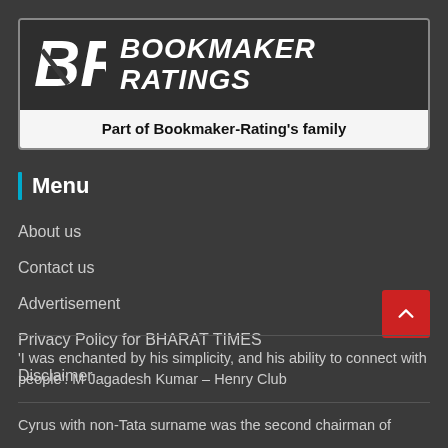[Figure (logo): Bookmaker Ratings logo with BR icon and text 'BOOKMAKER RATINGS', subtitle 'Part of Bookmaker-Rating's family']
Menu
About us
Contact us
Advertisement
Privacy Policy for BHARAT TIMES
Disclaimer
'I was enchanted by his simplicity, and his ability to connect with people': M Jagadesh Kumar – Henry Club
Cyrus with non-Tata surname was the second chairman of